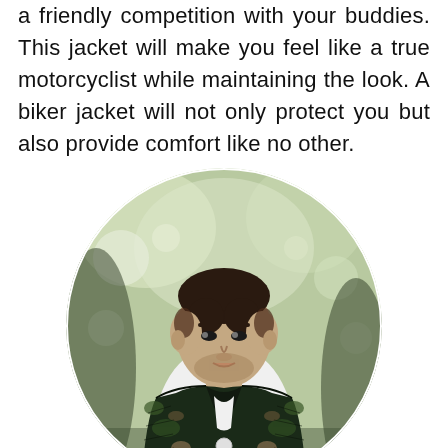a friendly competition with your buddies. This jacket will make you feel like a true motorcyclist while maintaining the look. A biker jacket will not only protect you but also provide comfort like no other.
[Figure (photo): A man wearing a camouflage quilted bomber jacket over a white t-shirt, standing outdoors with blurred green trees in the background. The photo is cropped in a circular frame.]